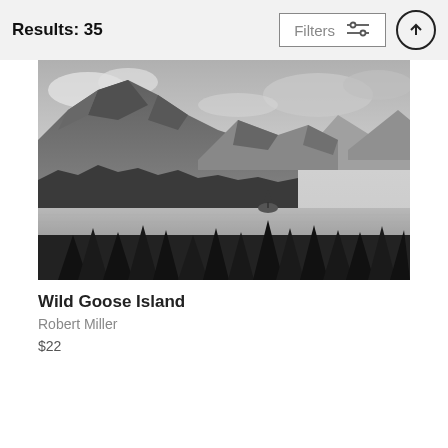Results: 35
[Figure (photo): Filters button with sliders icon]
[Figure (photo): Black and white landscape photo of Wild Goose Island with mountains, lake, and pine trees]
Wild Goose Island
Robert Miller
$22